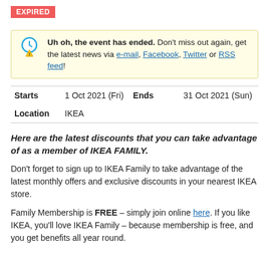EXPIRED
Uh oh, the event has ended. Don't miss out again, get the latest news via e-mail, Facebook, Twitter or RSS feed!
| Starts | 1 Oct 2021 (Fri) | Ends | 31 Oct 2021 (Sun) |
| Location | IKEA |  |  |
Here are the latest discounts that you can take advantage of as a member of IKEA FAMILY.
Don't forget to sign up to IKEA Family to take advantage of the latest monthly offers and exclusive discounts in your nearest IKEA store.
Family Membership is FREE – simply join online here. If you like IKEA, you'll love IKEA Family – because membership is free, and you get benefits all year round.